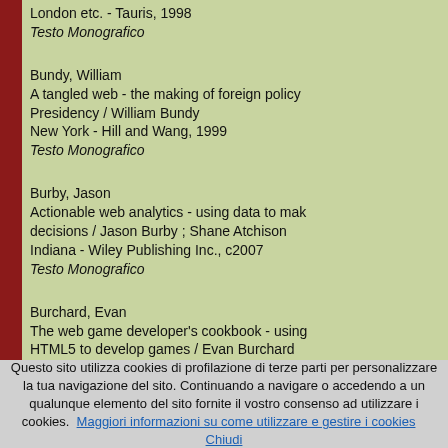London etc. - Tauris, 1998
Testo Monografico
Bundy, William
A tangled web - the making of foreign policy Presidency / William Bundy
New York - Hill and Wang, 1999
Testo Monografico
Burby, Jason
Actionable web analytics - using data to make decisions / Jason Burby ; Shane Atchison
Indiana - Wiley Publishing Inc., c2007
Testo Monografico
Burchard, Evan
The web game developer's cookbook - using HTML5 to develop games / Evan Burchard
Upper Saddle River, NJ - Addison-Wesley, 20
Testo Monografico
Questo sito utilizza cookies di profilazione di terze parti per personalizzare la tua navigazione del sito. Continuando a navigare o accedendo a un qualunque elemento del sito fornite il vostro consenso ad utilizzare i cookies. Maggiori informazioni su come utilizzare e gestire i cookies   Chiudi